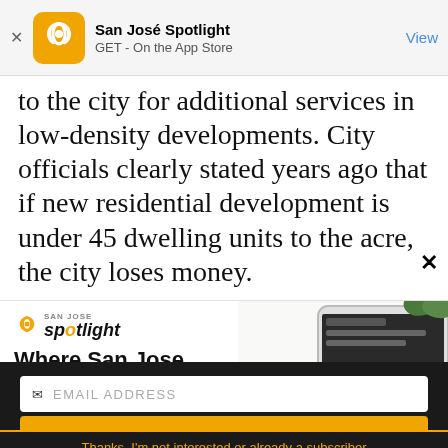[Figure (screenshot): App store banner showing San José Spotlight app icon with yellow logo, app name 'San José Spotlight', subtitle 'GET - On the App Store', and 'View' button on the right.]
to the city for additional services in low-density developments. City officials clearly stated years ago that if new residential development is under 45 dwelling units to the acre, the city loses money.
[Figure (infographic): San José Spotlight advertisement banner showing logo, tagline 'Where San Jose locals start the day.', website sanjosespotlight.com, and a tablet/phone image on the right side.]
EMAIL ADDRESS
SUBSCRIBE
Thanks, I'm not interested or already a subscriber